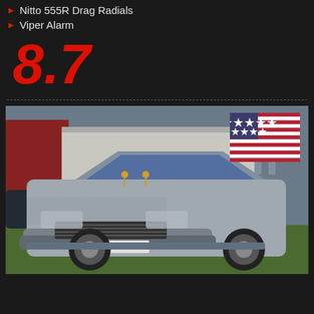Nitto 555R Drag Radials
Viper Alarm
8.7
[Figure (illustration): US flag icon]
[Figure (photo): Silver modified Mitsubishi Galant with wide body kit, front license plate reading BLUE DEAMON, parked on grass at a car show. Red building in background.]